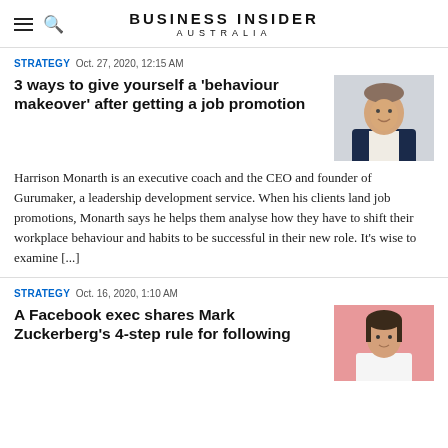BUSINESS INSIDER AUSTRALIA
STRATEGY  Oct. 27, 2020, 12:15 AM
3 ways to give yourself a 'behaviour makeover' after getting a job promotion
[Figure (photo): Headshot of Harrison Monarth, man in dark suit jacket against light background]
Harrison Monarth is an executive coach and the CEO and founder of Gurumaker, a leadership development service. When his clients land job promotions, Monarth says he helps them analyse how they have to shift their workplace behaviour and habits to be successful in their new role. It's wise to examine [...]
STRATEGY  Oct. 16, 2020, 1:10 AM
A Facebook exec shares Mark Zuckerberg's 4-step rule for following
[Figure (photo): Photo of a woman in white top against pink background]